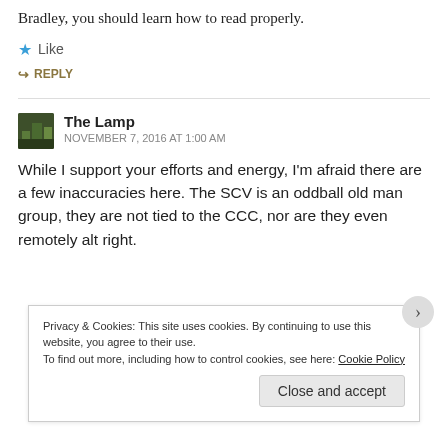Bradley, you should learn how to read properly.
★ Like
↪ REPLY
The Lamp
NOVEMBER 7, 2016 AT 1:00 AM
While I support your efforts and energy, I'm afraid there are a few inaccuracies here. The SCV is an oddball old man group, they are not tied to the CCC, nor are they even remotely alt right.
Privacy & Cookies: This site uses cookies. By continuing to use this website, you agree to their use.
To find out more, including how to control cookies, see here: Cookie Policy
Close and accept